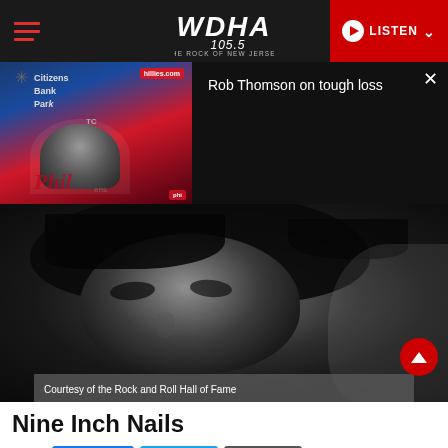WDHA 105.5 THE ROCK OF NEW JERSEY — LISTEN
[Figure (screenshot): Video overlay panel showing Rob Thomson press conference at Citizens Bank Park (Phillies) on the left, with text 'Rob Thomson on tough loss' on the right over black background, with a close button.]
[Figure (photo): Black and white close-up photo of Nine Inch Nails artist (Trent Reznor) with dark hair, moody lighting, with overlay caption 'Courtesy of the Rock and Roll Hall of Fame']
Courtesy of the Rock and Roll Hall of Fame
Nine Inch Nails
Share